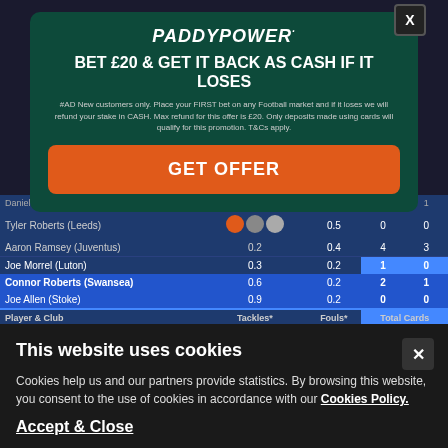| Player & Club | Tackles* | Fouls* | Total Cards |
| --- | --- | --- | --- |
| Joe Morrel (Luton) | 0.3 | 0.2 | 1 | 0 |
| Connor Roberts (Swansea) | 0.6 | 0.2 | 2 | 1 |
| Joe Allen (Stoke) | 0.9 | 0.2 | 0 | 0 |
| Player & Club | Tackles* | Fouls* | Total Cards |
| Connor Roberts (Swansea) | 0.7 | 0.7 | 9 |
| Kieffer Moore (Cardiff) | 0.4 | 2 | 7 |
| Harry Wilson (Cardiff - loan) | 0.7 | 11 | 6 |
[Figure (screenshot): Paddy Power advertisement overlay: BET £20 & GET IT BACK AS CASH IF IT LOSES promotion with GET OFFER button]
PADDYPOWER.
BET £20 & GET IT BACK AS CASH IF IT LOSES
#AD New customers only. Place your FIRST bet on any Football market and if it loses we will refund your stake in CASH. Max refund for this offer is £20. Only deposits made using cards will qualify for this promotion. T&Cs apply.
GET OFFER
This website uses cookies
Cookies help us and our partners provide statistics. By browsing this website, you consent to the use of cookies in accordance with our Cookies Policy.
Accept & Close